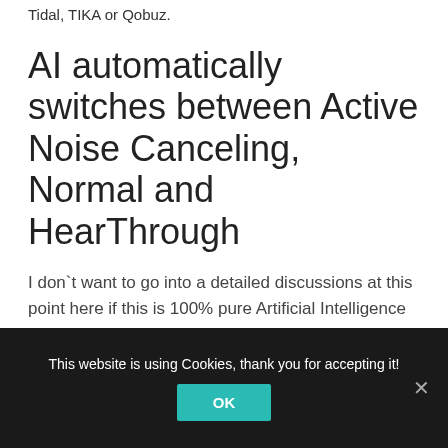Tidal, TIKA or Qobuz.
AI automatically switches between Active Noise Canceling, Normal and HearThrough
I don`t want to go into a detailed discussions at this point here if this is 100% pure Artificial Intelligence with Machine Learning but Microphones of this Headphones are detecting the outside environment and surrounding sounds and change between 3 modes:
This website is using Cookies, thank you for accepting it!